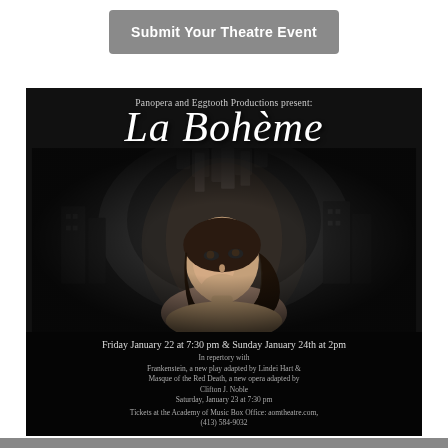Submit Your Theatre Event
[Figure (photo): Theatrical poster for La Bohème presented by Panopera and Eggtooth Productions. Dark background with a woman looking upward, dramatic atmospheric imagery. Text includes performance dates, repertory information, and ticket details.]